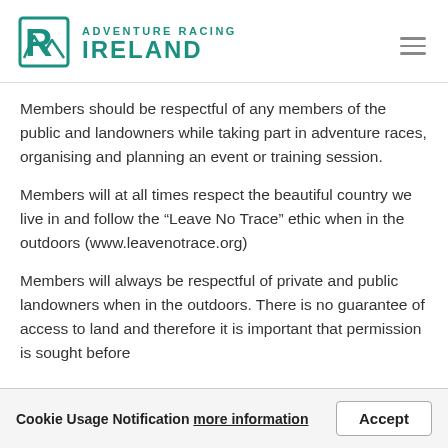Adventure Racing Ireland
Members should be respectful of any members of the public and landowners while taking part in adventure races, organising and planning an event or training session.
Members will at all times respect the beautiful country we live in and follow the "Leave No Trace" ethic when in the outdoors (www.leavenotrace.org)
Members will always be respectful of private and public landowners when in the outdoors. There is no guarantee of access to land and therefore it is important that permission is sought before
Cookie Usage Notification more information  Accept